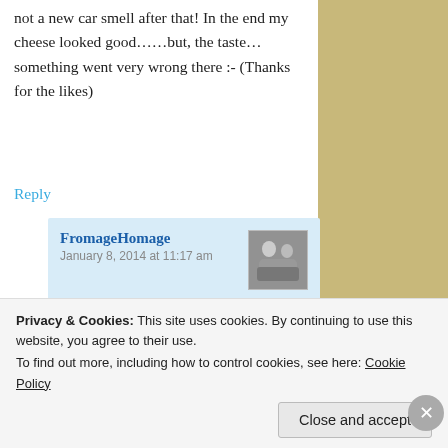not a new car smell after that! In the end my cheese looked good……but, the taste…something went very wrong there :- (Thanks for the likes)
Reply
FromageHomage
January 8, 2014 at 11:17 am
Yes, I'm not very good at cheese-making but it's interesting and quite fun. I can imagine a cheesy car is not a good thing though… 😉
Privacy & Cookies: This site uses cookies. By continuing to use this website, you agree to their use.
To find out more, including how to control cookies, see here: Cookie Policy
Close and accept